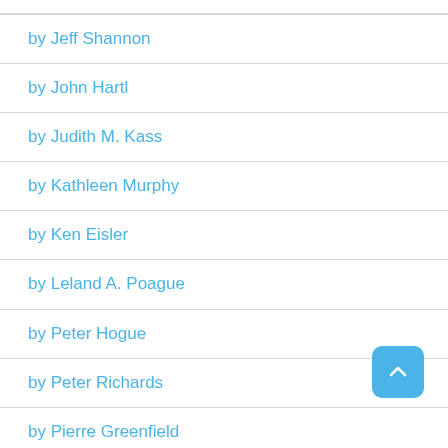by Jeff Shannon
by John Hartl
by Judith M. Kass
by Kathleen Murphy
by Ken Eisler
by Leland A. Poague
by Peter Hogue
by Peter Richards
by Pierre Greenfield